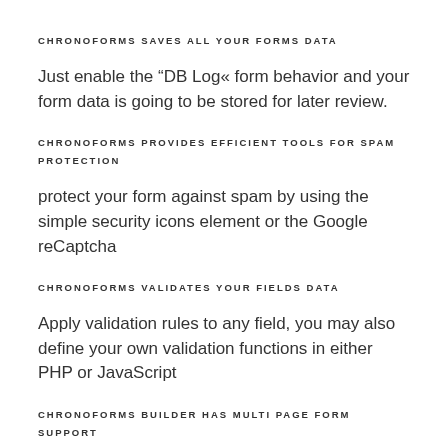CHRONOFORMS SAVES ALL YOUR FORMS DATA
Just enable the “DB Log« form behavior and your form data is going to be stored for later review.
CHRONOFORMS PROVIDES EFFICIENT TOOLS FOR SPAM PROTECTION
protect your form against spam by using the simple security icons element or the Google reCaptcha
CHRONOFORMS VALIDATES YOUR FIELDS DATA
Apply validation rules to any field, you may also define your own validation functions in either PHP or JavaScript
CHRONOFORMS BUILDER HAS MULTI PAGE FORM SUPPORT